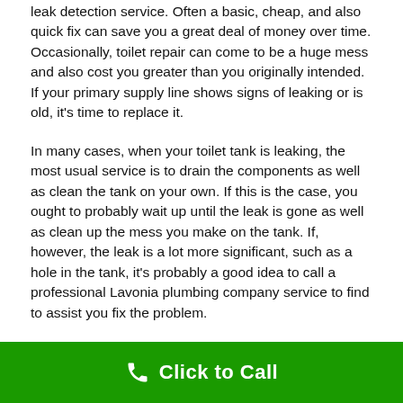leak detection service. Often a basic, cheap, and also quick fix can save you a great deal of money over time. Occasionally, toilet repair can come to be a huge mess and also cost you greater than you originally intended. If your primary supply line shows signs of leaking or is old, it's time to replace it.
In many cases, when your toilet tank is leaking, the most usual service is to drain the components as well as clean the tank on your own. If this is the case, you ought to probably wait up until the leak is gone as well as clean up the mess you make on the tank. If, however, the leak is a lot more significant, such as a hole in the tank, it's probably a good idea to call a professional Lavonia plumbing company service to find to assist you fix the problem.
[Figure (other): Green call-to-action button bar with phone icon and bold white text 'Click to Call']